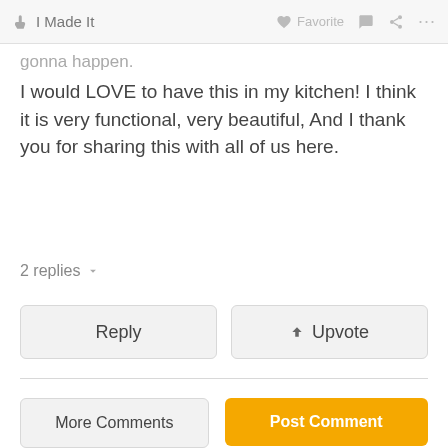I Made It   Favorite   ...
gonna happen.
I would LOVE to have this in my kitchen! I think it is very functional, very beautiful, And I thank you for sharing this with all of us here.
2 replies
Reply
Upvote
More Comments
Post Comment